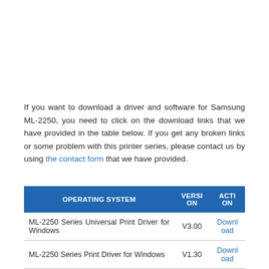If you want to download a driver and software for Samsung ML-2250, you need to click on the download links that we have provided in the table below. If you get any broken links or some problem with this printer series, please contact us by using the contact form that we have provided.
| OPERATING SYSTEM | VERSION | ACTION |
| --- | --- | --- |
| ML-2250 Series Universal Print Driver for Windows | V3.00 | Download |
| ML-2250 Series Print Driver for Windows | V1.30 | Download |
| ML-2250 Series Print Driver for Windows |  | Downl |